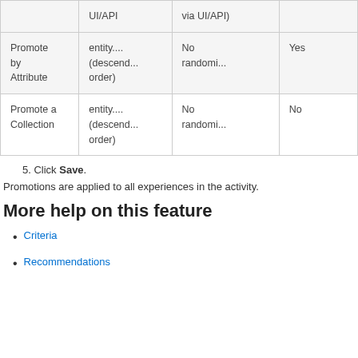|  | UI/API | via UI/API) |  |
| --- | --- | --- | --- |
| Promote by Attribute | entity....
(descend...
order) | No
randomi... | Yes |
| Promote a Collection | entity....
(descend...
order) | No
randomi... | No |
5. Click Save.
Promotions are applied to all experiences in the activity.
More help on this feature
Criteria
Recommendations